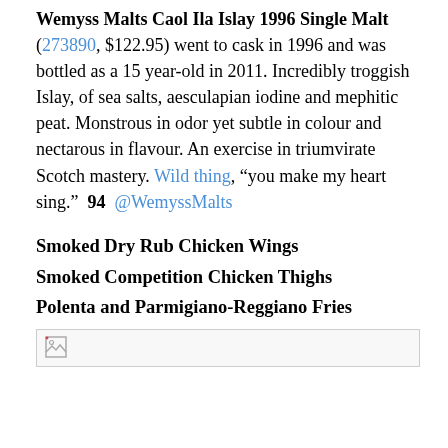Wemyss Malts Caol Ila Islay 1996 Single Malt (273890, $122.95) went to cask in 1996 and was bottled as a 15 year-old in 2011. Incredibly troggish Islay, of sea salts, aesculapian iodine and mephitic peat. Monstrous in odor yet subtle in colour and nectarous in flavour. An exercise in triumvirate Scotch mastery. Wild thing, "you make my heart sing."  94  @WemyssMalts
Smoked Dry Rub Chicken Wings
Smoked Competition Chicken Thighs
Polenta and Parmigiano-Reggiano Fries
[Figure (photo): Broken/unloaded image placeholder shown as a small image icon in the top-left of a rectangular image area]